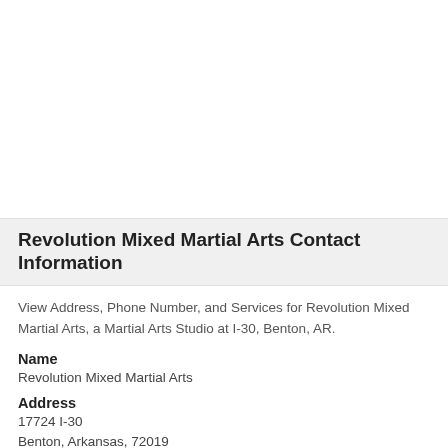Revolution Mixed Martial Arts Contact Information
View Address, Phone Number, and Services for Revolution Mixed Martial Arts, a Martial Arts Studio at I-30, Benton, AR.
Name
Revolution Mixed Martial Arts
Address
17724 I-30
Benton, Arkansas, 72019
Phone